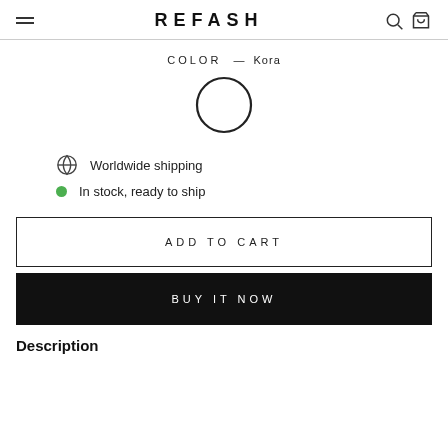REFASH
COLOR — Kora
[Figure (illustration): White color swatch circle with black border]
Worldwide shipping
In stock, ready to ship
ADD TO CART
BUY IT NOW
Description